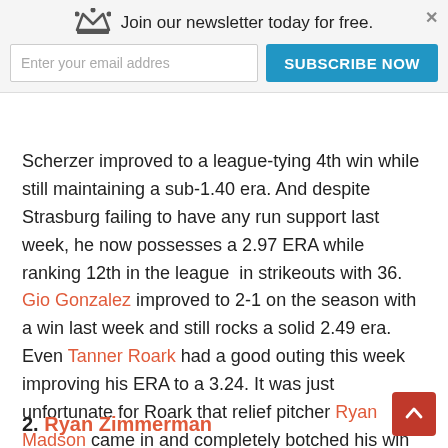Join our newsletter today for free. | Enter your email addres | SUBSCRIBE NOW
Scherzer improved to a league-tying 4th win while still maintaining a sub-1.40 era. And despite Strasburg failing to have any run support last week, he now possesses a 2.97 ERA while ranking 12th in the league in strikeouts with 36. Gio Gonzalez improved to 2-1 on the season with a win last week and still rocks a solid 2.49 era. Even Tanner Roark had a good outing this week improving his ERA to a 3.24. It was just unfortunate for Roark that relief pitcher Ryan Madson came in and completely botched his win opportunity.
2. Ryan Zimmerman